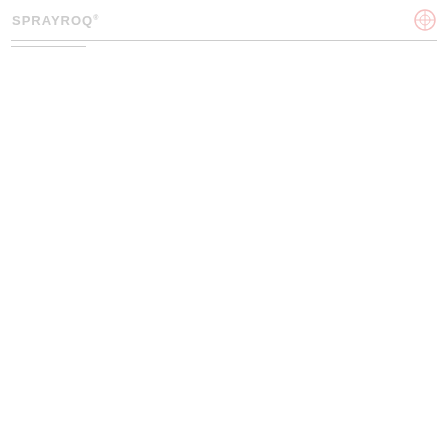SPRAYROQ
[Figure (logo): Sprayroq logo with circular icon on the right side of header]